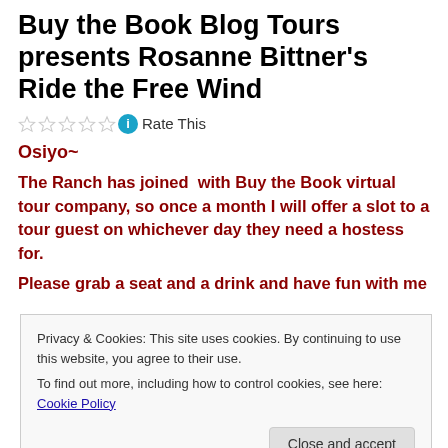Buy the Book Blog Tours presents Rosanne Bittner's Ride the Free Wind
Rate This
Osiyo~
The Ranch has joined  with Buy the Book virtual tour company, so once a month I will offer a slot to a tour guest on whichever day they need a hostess for.
Please grab a seat and a drink and have fun with me
Privacy & Cookies: This site uses cookies. By continuing to use this website, you agree to their use.
To find out more, including how to control cookies, see here: Cookie Policy
Close and accept